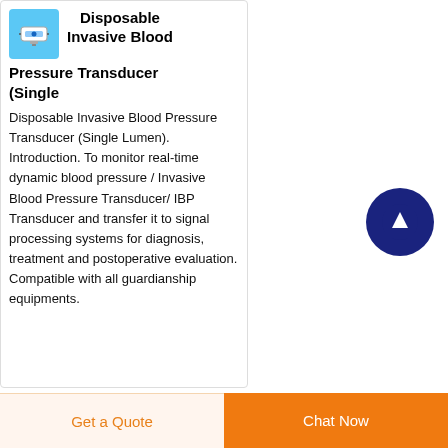Disposable Invasive Blood Pressure Transducer (Single
Disposable Invasive Blood Pressure Transducer (Single Lumen). Introduction. To monitor real-time dynamic blood pressure / Invasive Blood Pressure Transducer/ IBP Transducer and transfer it to signal processing systems for diagnosis, treatment and postoperative evaluation. Compatible with all guardianship equipments.
[Figure (illustration): Small icon of a disposable invasive blood pressure transducer device on a light blue background]
[Figure (illustration): Dark navy blue circular floating action button with a white upward arrow icon]